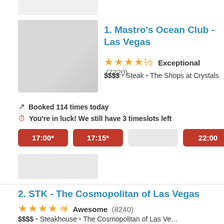[Figure (screenshot): Top partial gray box at top of page]
1. Mastro's Ocean Club - Las Vegas
★★★★½  Exceptional  (7220)
$$$$ • Steak • The Shops at Crystals
Booked 114 times today
You're in luck! We still have 3 timeslots left
17:00*   17:15*   [gray]   22:00
[Figure (screenshot): Gray block placeholder below time buttons]
2. STK - The Cosmopolitan of Las Vegas
★★★★½  Awesome  (8240)
$$$$ • Steakhouse • The Cosmopolitan of Las Ve…
Booked 226 times today